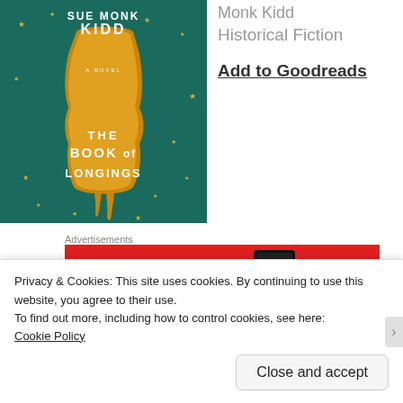[Figure (illustration): Book cover of 'The Book of Longings' by Sue Monk Kidd. Dark teal background with gold stars, a golden papyrus or scroll shape in the center. Author name at top: SUE MONK KIDD. Subtitle 'A NOVEL'. Title: THE BOOK of LONGINGS at bottom in white bold text.]
Monk Kidd
Historical Fiction
Add to Goodreads
Advertisements
[Figure (screenshot): Red advertisement banner for Pocket Casts podcast app. Text: 'An app by listeners, for listeners.' with a phone image showing 'Distributed' text and the Pocket Casts logo on the right.]
Privacy & Cookies: This site uses cookies. By continuing to use this website, you agree to their use.
To find out more, including how to control cookies, see here:
Cookie Policy
Close and accept